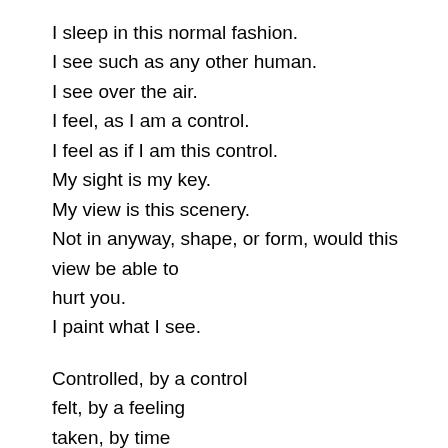I sleep in this normal fashion.
I see such as any other human.
I see over the air.
I feel, as I am a control.
I feel as if I am this control.
My sight is my key.
My view is this scenery.
Not in anyway, shape, or form, would this view be able to hurt you.
I paint what I see.

Controlled, by a control
felt, by a feeling
taken, by time
forced, by a force.
crafted, by a craft
formed, from a formation